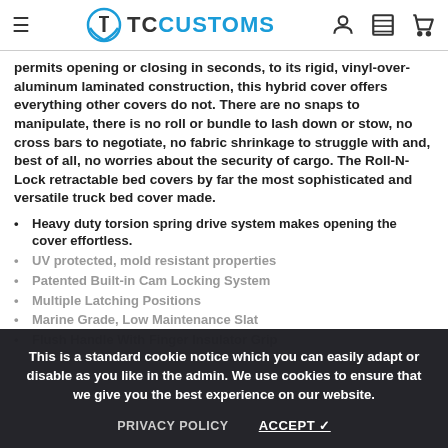TC CUSTOMS
permits opening or closing in seconds, to its rigid, vinyl-over-aluminum laminated construction, this hybrid cover offers everything other covers do not. There are no snaps to manipulate, there is no roll or bundle to lash down or stow, no cross bars to negotiate, no fabric shrinkage to struggle with and, best of all, no worries about the security of cargo. The Roll-N-Lock retractable bed covers by far the most sophisticated and versatile truck bed cover made.
Heavy duty torsion spring drive system makes opening the cover effortless.
UV protected, mold resistant properties
Patented Built-In Cam Locking System
Multiple Latching Positions
Marine Grade, Low Maintenance Slat
Flush Handle With Finger Insulator Grip
This is a standard cookie notice which you can easily adapt or disable as you like in the admin. We use cookies to ensure that we give you the best experience on our website.
PRIVACY POLICY   ACCEPT ✓